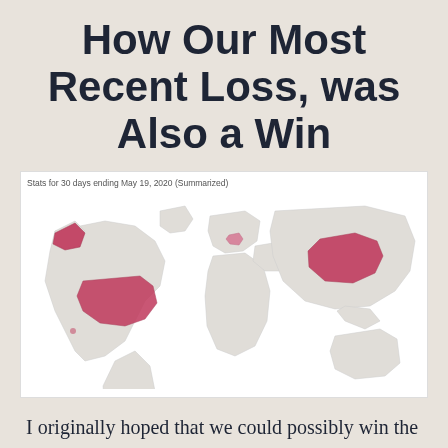How Our Most Recent Loss, was Also a Win
[Figure (map): World map showing geographic stats for 30 days ending May 19, 2020 (Summarized). Highlighted regions in pink/crimson include Alaska, the contiguous United States, a small region in Europe, and China.]
Stats for 30 days ending May 19, 2020 (Summarized)
I originally hoped that we could possibly win the